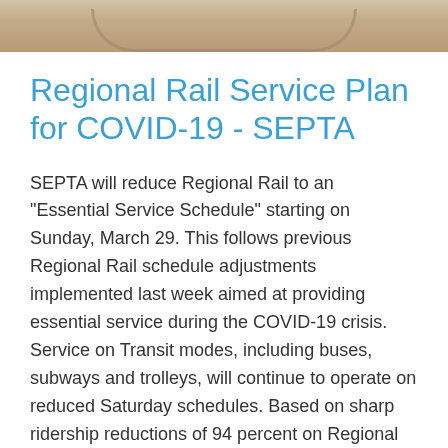[Figure (photo): Partial top of a photograph showing curved architectural or transit-related shapes in tan/brown tones]
Regional Rail Service Plan for COVID-19 - SEPTA
SEPTA will reduce Regional Rail to an "Essential Service Schedule" starting on Sunday, March 29. This follows previous Regional Rail schedule adjustments implemented last week aimed at providing essential service during the COVID-19 crisis. Service on Transit modes, including buses, subways and trolleys, will continue to operate on reduced Saturday schedules. Based on sharp ridership reductions of 94 percent on Regional